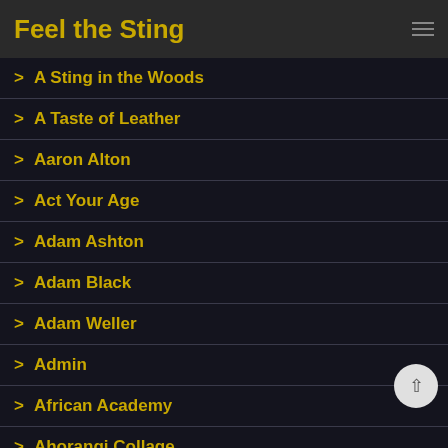Feel the Sting
A Sting in the Woods
A Taste of Leather
Aaron Alton
Act Your Age
Adam Ashton
Adam Black
Adam Weller
Admin
African Academy
Ahorangi Collage
Aiden Jason
Alan Pekny